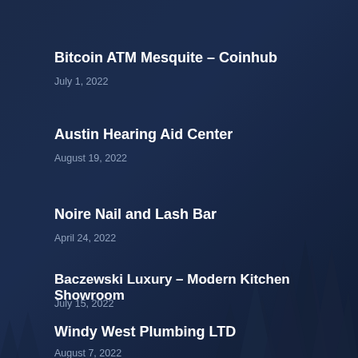Bitcoin ATM Mesquite – Coinhub
July 1, 2022
Austin Hearing Aid Center
August 19, 2022
Noire Nail and Lash Bar
April 24, 2022
Baczewski Luxury – Modern Kitchen Showroom
July 15, 2022
Windy West Plumbing LTD
August 7, 2022